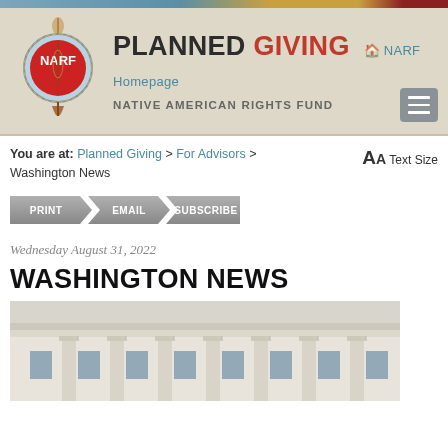[Figure (logo): NARF (Native American Rights Fund) logo - circular red badge with feather symbol and organization name]
PLANNED GIVING | NARF Homepage | NATIVE AMERICAN RIGHTS FUND
You are at: Planned Giving > For Advisors > Washington News
AA Text Size
PRINT | EMAIL | SUBSCRIBE
Wednesday August 31, 2022
WASHINGTON NEWS
[Figure (photo): Photo of a classical government building with white stone columns and ornate architecture, likely a US government or court building]